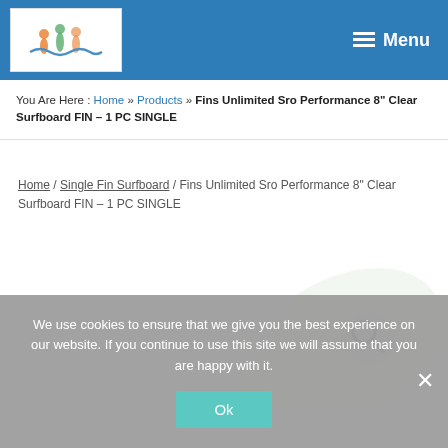DeeSurf.com | Menu
You Are Here : Home » Products » Fins Unlimited Sro Performance 8" Clear Surfboard FIN – 1 PC SINGLE
Home / Single Fin Surfboard / Fins Unlimited Sro Performance 8" Clear Surfboard FIN – 1 PC SINGLE
[Figure (illustration): Search icon watermark and magnifying glass icon on white background]
We use cookies to ensure that we give you the best experience on our website. If you continue to use this site we will assume that you are happy with it.